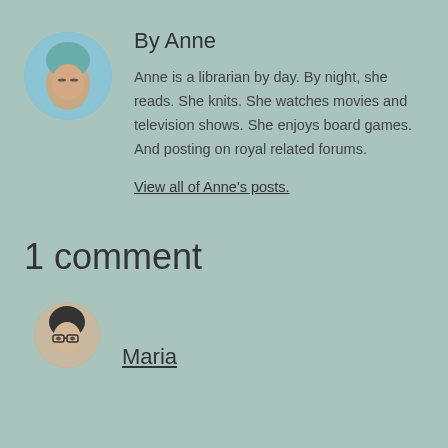[Figure (photo): Circular avatar photo of Anne, a woman with blue-green hair against a sky background]
By Anne
Anne is a librarian by day. By night, she reads. She knits. She watches movies and television shows. She enjoys board games. And posting on royal related forums.
View all of Anne's posts.
1 comment
[Figure (photo): Circular avatar photo of Maria, a woman with dark hair and glasses]
Maria